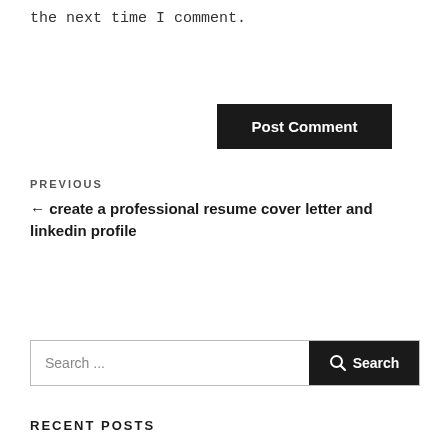the next time I comment.
Post Comment
PREVIOUS
← create a professional resume cover letter and linkedin profile
Search ...
Search
RECENT POSTS